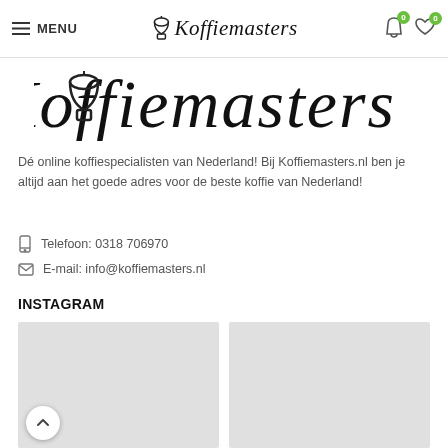MENU | Koffiemasters | 0 | 0
[Figure (logo): Koffiemasters logo in large italic script font with moka pot icon]
Dé online koffiespecialisten van Nederland! Bij Koffiemasters.nl ben je altijd aan het goede adres voor de beste koffie van Nederland!
Telefoon: 0318 706970
E-mail: info@koffiemasters.nl
INSTAGRAM
[Figure (photo): Two Instagram photo placeholders (grey boxes)]